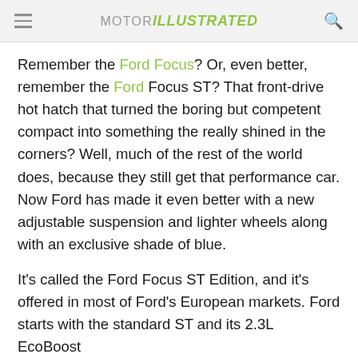MOTOR ILLUSTRATED
Remember the Ford Focus? Or, even better, remember the Ford Focus ST? That front-drive hot hatch that turned the boring but competent compact into something the really shined in the corners? Well, much of the rest of the world does, because they still get that performance car. Now Ford has made it even better with a new adjustable suspension and lighter wheels along with an exclusive shade of blue.
It's called the Ford Focus ST Edition, and it's offered in most of Ford's European markets. Ford starts with the standard ST and its 2.3L EcoBoost